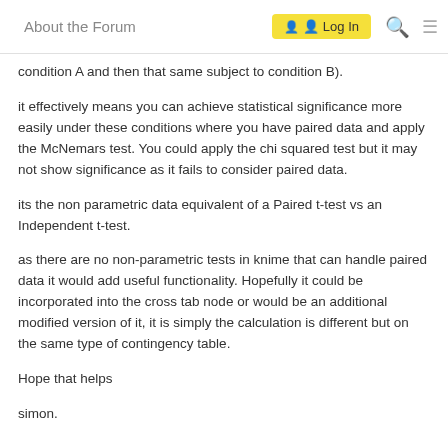About the Forum  Log In
condition A and then that same subject to condition B).
it effectively means you can achieve statistical significance more easily under these conditions where you have paired data and apply the McNemars test. You could apply the chi squared test but it may not show significance as it fails to consider paired data.
its the non parametric data equivalent of a Paired t-test vs an Independent t-test.
as there are no non-parametric tests in knime that can handle paired data it would add useful functionality. Hopefully it could be incorporated into the cross tab node or would be an additional modified version of it, it is simply the calculation is different but on the same type of contingency table.
Hope that helps
simon.